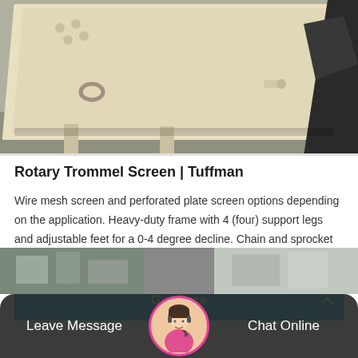[Figure (photo): Industrial rotary trommel screen machine, cream/beige colored metal body with bolts and fittings, black chute visible on right side, photographed in a factory setting]
Rotary Trommel Screen | Tuffman
Wire mesh screen and perforated plate screen options depending on the application. Heavy-duty frame with 4 (four) support legs and adjustable feet for a 0-4 degree decline. Chain and sprocket drive…
[Figure (other): Get Price call-to-action button in cyan/teal color with scroll-to-top arrow button on right side]
[Figure (photo): Bottom section showing factory/industrial background with dark overlay bar containing Leave Message and Chat Online options, and a customer service avatar in center with pink border]
Leave Message
Chat Online